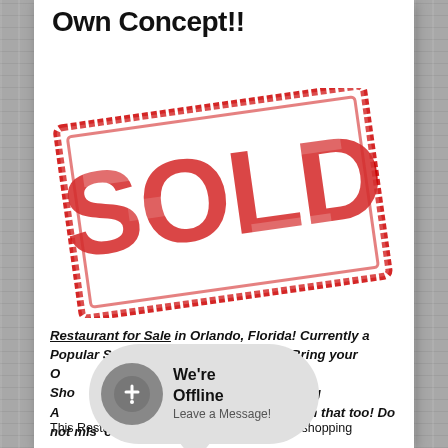Own Concept!!
[Figure (illustration): Large red distressed stamp graphic reading 'SOLD' at an angle inside a rectangular border]
Restaurant for Sale in Orlando, Florida! Currently a Popular Seafood Concept Or Bring your Own Concept or Variation! Located in Busy Shopping Center Anchored by Major Grocery Store! Bring All Offers! Need Help with Lending? We can help with that too! Do not miss out!
This Restaurant for Sale is located, in a busy shopping